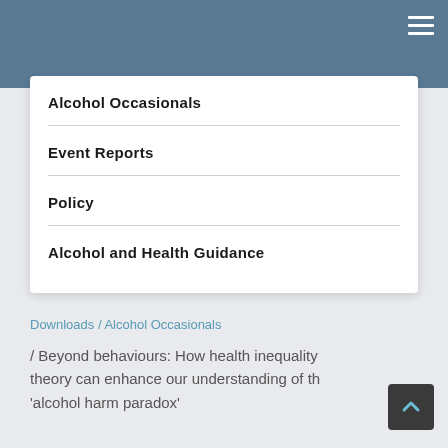Alcohol Occasionals
Event Reports
Policy
Alcohol and Health Guidance
Downloads / Alcohol Occasionals
/ Beyond behaviours: How health inequality theory can enhance our understanding of the 'alcohol harm paradox'